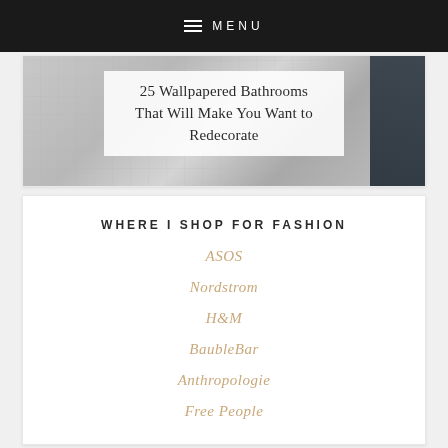MENU
25 Wallpapered Bathrooms That Will Make You Want to Redecorate
WHERE I SHOP FOR FASHION
ASOS
Nordstrom
H&M
BaubleBar
Anthropologie
Free People